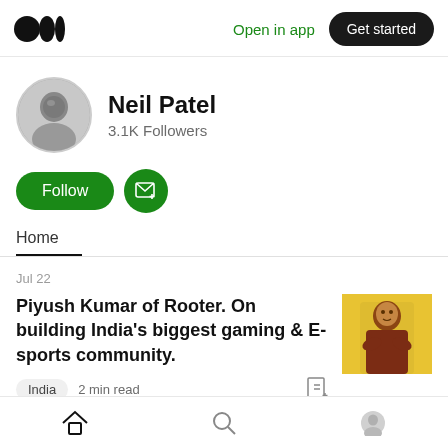Medium logo | Open in app | Get started
[Figure (photo): Neil Patel profile avatar - circular photo of a man]
Neil Patel
3.1K Followers
[Figure (other): Follow button (green pill) and Subscribe button (green circle with envelope icon)]
Home
Jul 22
Piyush Kumar of Rooter. On building India's biggest gaming & E-sports community.
[Figure (photo): Article thumbnail - man in red shirt on yellow background with arms crossed]
India  2 min read
Home | Search | Profile navigation icons